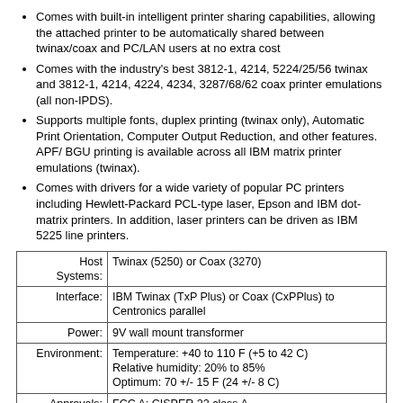Comes with built-in intelligent printer sharing capabilities, allowing the attached printer to be automatically shared between twinax/coax and PC/LAN users at no extra cost
Comes with the industry's best 3812-1, 4214, 5224/25/56 twinax and 3812-1, 4214, 4224, 4234, 3287/68/62 coax printer emulations (all non-IPDS).
Supports multiple fonts, duplex printing (twinax only), Automatic Print Orientation, Computer Output Reduction, and other features. APF/ BGU printing is available across all IBM matrix printer emulations (twinax).
Comes with drivers for a wide variety of popular PC printers including Hewlett-Packard PCL-type laser, Epson and IBM dot-matrix printers. In addition, laser printers can be driven as IBM 5225 line printers.
|  |  |
| --- | --- |
| Host Systems: | Twinax (5250) or Coax (3270) |
| Interface: | IBM Twinax (TxP Plus) or Coax (CxPPlus) to Centronics parallel |
| Power: | 9V wall mount transformer |
| Environment: | Temperature: +40 to 110 F (+5 to 42 C)
Relative humidity: 20% to 85%
Optimum: 70 +/- 15 F (24 +/- 8 C) |
| Approvals: | FCC A; CISPER 22 class A |
| Twinax AS/400 |
| --- |
| Attaches to IBM AS/400 or System/3X Hosts, or 5X94 Controllers |
| Supports IBM 3812-1 (SCS), 4214, 5224/25/56 Printer Emulations |